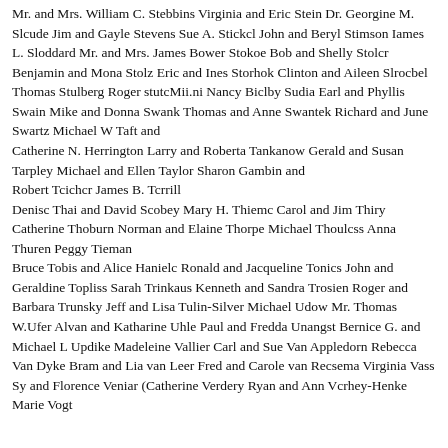Mr. and Mrs. William C. Stebbins Virginia and Eric Stein Dr. Georgine M. Slcude Jim and Gayle Stevens Sue A. Stickcl John and Beryl Stimson Iames L. Sloddard Mr. and Mrs. James Bower Stokoe Bob and Shelly Stolcr Benjamin and Mona Stolz Eric and Ines Storhok Clinton and Aileen Slrocbel Thomas Stulberg Roger stutcMii.ni Nancy Biclby Sudia Earl and Phyllis Swain Mike and Donna Swank Thomas and Anne Swantek Richard and June Swartz Michael W Taft and Catherine N. Herrington Larry and Roberta Tankanow Gerald and Susan Tarpley Michael and Ellen Taylor Sharon Gambin and Robert Tcichcr James B. Tcrrill Denisc Thai and David Scobey Mary H. Thiemc Carol and Jim Thiry Catherine Thoburn Norman and Elaine Thorpe Michael Thoulcss Anna Thuren Peggy Tieman Bruce Tobis and Alice Hanielc Ronald and Jacqueline Tonics John and Geraldine Topliss Sarah Trinkaus Kenneth and Sandra Trosien Roger and Barbara Trunsky Jeff and Lisa Tulin-Silver Michael Udow Mr. Thomas W.Ufer Alvan and Katharine Uhle Paul and Fredda Unangst Bernice G. and Michael L Updike Madeleine Vallier Carl and Sue Van Appledorn Rebecca Van Dyke Bram and Lia van Leer Fred and Carole van Recsema Virginia Vass Sy and Florence Veniar (Catherine Verdery Ryan and Ann Vcrhey-Henke Marie Vogt